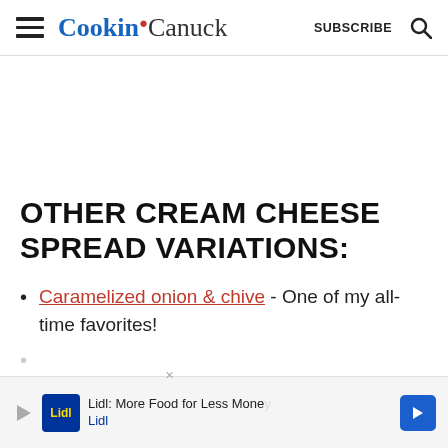Cookin Canuck — SUBSCRIBE
OTHER CREAM CHEESE SPREAD VARIATIONS:
Caramelized onion & chive - One of my all-time favorites!
[Figure (screenshot): Lidl advertisement banner: 'Lidl: More Food for Less Money — Lidl' with Lidl logo and blue arrow button]